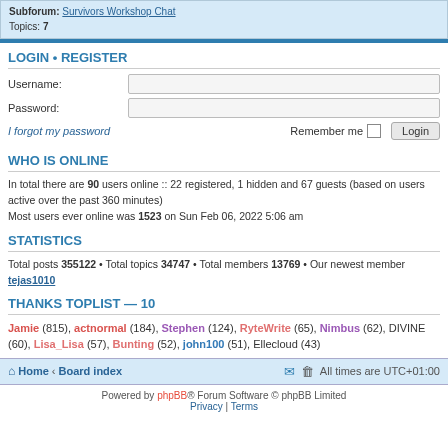Subforum: Survivors Workshop Chat
Topics: 7
LOGIN • REGISTER
Username:
Password:
I forgot my password    Remember me  Login
WHO IS ONLINE
In total there are 90 users online :: 22 registered, 1 hidden and 67 guests (based on users active over the past 360 minutes)
Most users ever online was 1523 on Sun Feb 06, 2022 5:06 am
STATISTICS
Total posts 355122 • Total topics 34747 • Total members 13769 • Our newest member tejas1010
THANKS TOPLIST — 10
Jamie (815), actnormal (184), Stephen (124), RyteWrite (65), Nimbus (62), DIVINE (60), Lisa_Lisa (57), Bunting (52), john100 (51), Ellecloud (43)
Home · Board index   All times are UTC+01:00
Powered by phpBB® Forum Software © phpBB Limited
Privacy | Terms